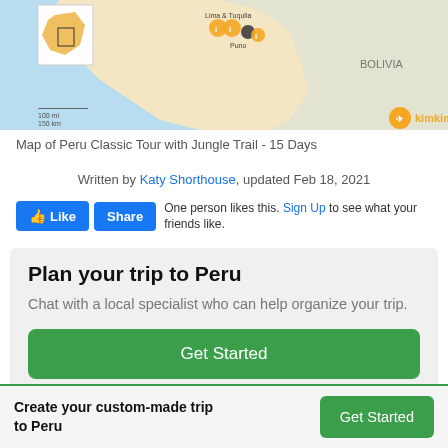[Figure (map): Map of Peru Classic Tour with Jungle Trail showing route across Peru near Bolivia border, with kimkim branding and location markers. Light blue ocean background with tan/beige land.]
Map of Peru Classic Tour with Jungle Trail - 15 Days
Written by Katy Shorthouse, updated Feb 18, 2021
One person likes this. Sign Up to see what your friends like.
Plan your trip to Peru
Chat with a local specialist who can help organize your trip.
Get Started
Create your custom-made trip to Peru
Get Started